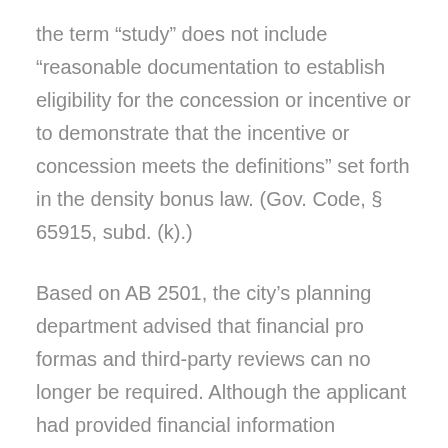the term “study” does not include “reasonable documentation to establish eligibility for the concession or incentive or to demonstrate that the incentive or concession meets the definitions” set forth in the density bonus law. (Gov. Code, § 65915, subd. (k).)
Based on AB 2501, the city’s planning department advised that financial pro formas and third-party reviews can no longer be required. Although the applicant had provided financial information regarding the project, in response to city staff’s interpretation of AB 2501, the applicant stated that he would not be providing a pro forma for the project.